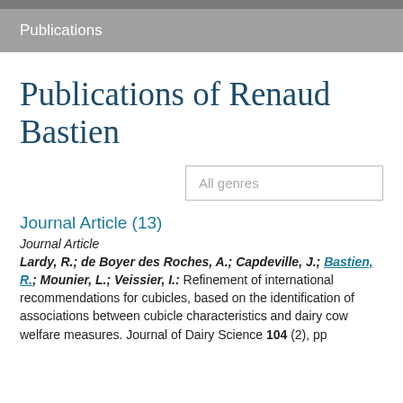Publications
Publications of Renaud Bastien
All genres
Journal Article (13)
Journal Article
Lardy, R.; de Boyer des Roches, A.; Capdeville, J.; Bastien, R.; Mounier, L.; Veissier, I.: Refinement of international recommendations for cubicles, based on the identification of associations between cubicle characteristics and dairy cow welfare measures. Journal of Dairy Science 104 (2), pp